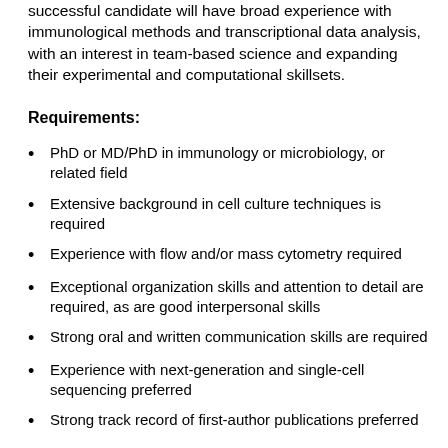successful candidate will have broad experience with immunological methods and transcriptional data analysis, with an interest in team-based science and expanding their experimental and computational skillsets.
Requirements:
PhD or MD/PhD in immunology or microbiology, or related field
Extensive background in cell culture techniques is required
Experience with flow and/or mass cytometry required
Exceptional organization skills and attention to detail are required, as are good interpersonal skills
Strong oral and written communication skills are required
Experience with next-generation and single-cell sequencing preferred
Strong track record of first-author publications preferred